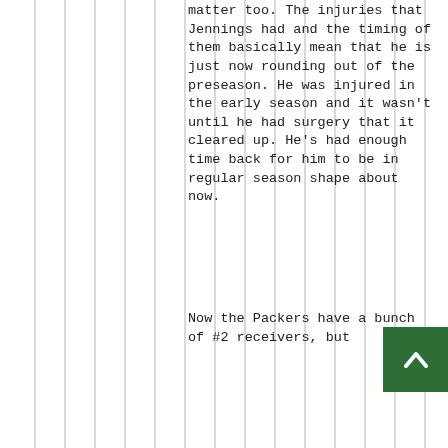matter too. The injuries that Jennings had and the timing of them basically mean that he is just now rounding out of the preseason. He was injured in the early season and it wasn't until he had surgery that it cleared up. He's had enough time back for him to be in regular season shape about now.
Now the Packers have a bunch of #2 receivers, but